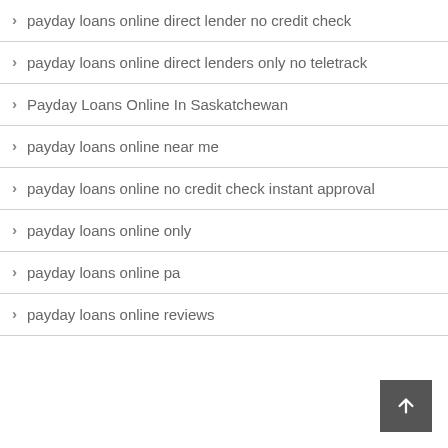payday loans online direct lender no credit check
payday loans online direct lenders only no teletrack
Payday Loans Online In Saskatchewan
payday loans online near me
payday loans online no credit check instant approval
payday loans online only
payday loans online pa
payday loans online reviews